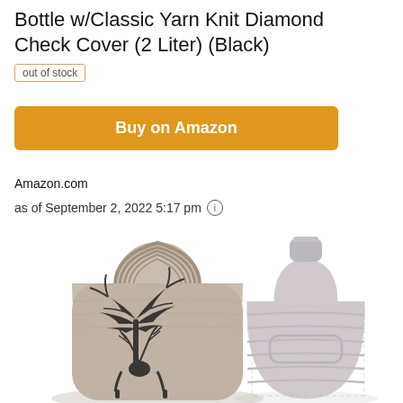Bottle w/Classic Yarn Knit Diamond Check Cover (2 Liter) (Black)
out of stock
Buy on Amazon
Amazon.com
as of September 2, 2022 5:17 pm
[Figure (photo): Two hot water bottles side by side: left one covered in a grey knit yarn cover with black deer and tree design, right one is a plain grey ribbed rubber hot water bottle]